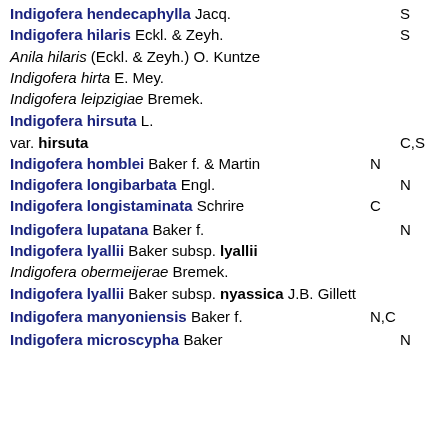Indigofera hendecaphylla Jacq.   S
Indigofera hilaris Eckl. & Zeyh.   S
Anila hilaris (Eckl. & Zeyh.) O. Kuntze
Indigofera hirta E. Mey.
Indigofera leipzigiae Bremek.
Indigofera hirsuta L.
var. hirsuta   C,S
Indigofera homblei Baker f. & Martin   N
Indigofera longibarbata Engl.   N
Indigofera longistaminata Schrire   C
Indigofera lupatana Baker f.   N
Indigofera lyallii Baker subsp. lyallii
Indigofera obermeijerae Bremek.
Indigofera lyallii Baker subsp. nyassica J.B. Gillett
Indigofera manyoniensis Baker f.   N,C
Indigofera microscypha Baker   N